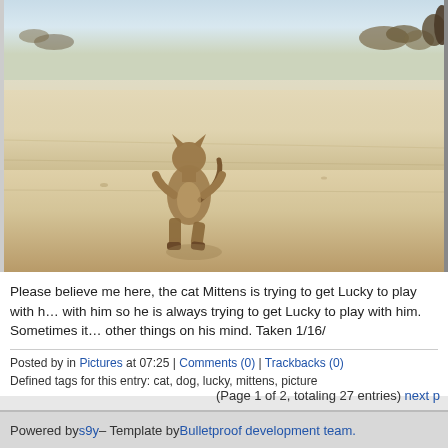[Figure (photo): A cat (Mittens) standing upright on hind legs in a snowy field, viewed from behind. The animal appears to be a large fawn/tan colored cat. Snow-covered ground with sparse vegetation in the background. Taken 1/16/[year].]
Please believe me here, the cat Mittens is trying to get Lucky to play with him. Mittens is in love with him so he is always trying to get Lucky to play with him. Sometimes it works and sometimes Lucky has other things on his mind. Taken 1/16/[year]
Posted by in Pictures at 07:25 | Comments (0) | Trackbacks (0)
Defined tags for this entry: cat, dog, lucky, mittens, picture
(Page 1 of 2, totaling 27 entries) next p
Powered by s9y – Template by Bulletproof development team.